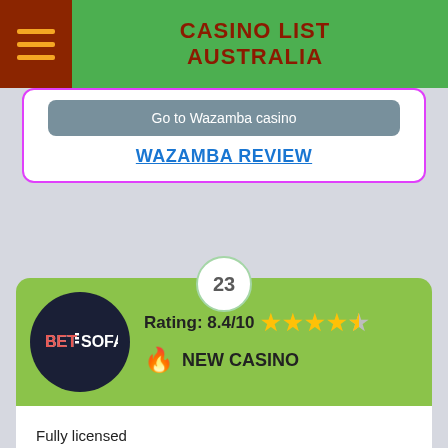CASINO LIST AUSTRALIA
Go to Wazamba casino
WAZAMBA REVIEW
23
[Figure (logo): BetSofa casino logo — dark navy circle with BET=SOFA text in white and red]
Rating: 8.4/10 ★★★★☆
🔥 NEW CASINO
Fully licensed
No deposit welcome offer
Great range of games
Fast payouts
No dedicated app